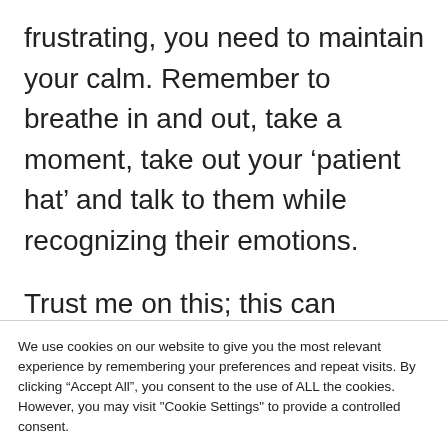frustrating, you need to maintain your calm. Remember to breathe in and out, take a moment, take out your ‘patient hat’ and talk to them while recognizing their emotions.
Trust me on this; this can become an excellent example for your kid on how to react in such situations.
We use cookies on our website to give you the most relevant experience by remembering your preferences and repeat visits. By clicking “Accept All”, you consent to the use of ALL the cookies. However, you may visit "Cookie Settings" to provide a controlled consent.